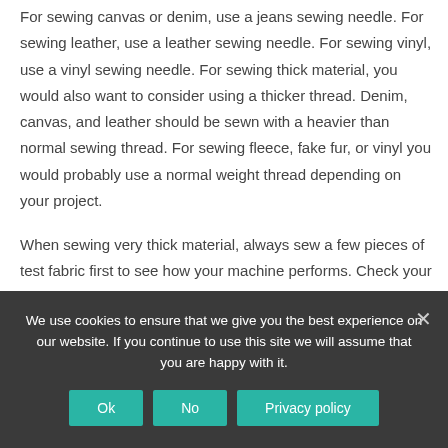For sewing canvas or denim, use a jeans sewing needle. For sewing leather, use a leather sewing needle. For sewing vinyl, use a vinyl sewing needle. For sewing thick material, you would also want to consider using a thicker thread. Denim, canvas, and leather should be sewn with a heavier than normal sewing thread. For sewing fleece, fake fur, or vinyl you would probably use a normal weight thread depending on your project.
When sewing very thick material, always sew a few pieces of test fabric first to see how your machine performs. Check your machine's tension with these heavy materials while you are at it. Remember, the threads should join in the middle of two pieces of fabric being sewn together. If your sewing machine does not seem
We use cookies to ensure that we give you the best experience on our website. If you continue to use this site we will assume that you are happy with it.